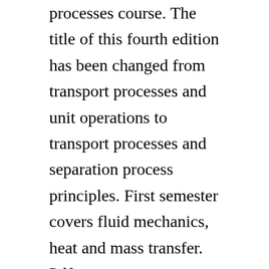processes course. The title of this fourth edition has been changed from transport processes and unit operations to transport processes and separation process principles. First semester covers fluid mechanics, heat and mass transfer. Pdf transport processes and separation process principles. Pearson new international edition 4th edition by geankoplis, christie john and publisher pearson uk. Transport processes and separation process principles by. Geankoplis, transport processes and unit operations pearson. Geankoplis, transport processes and